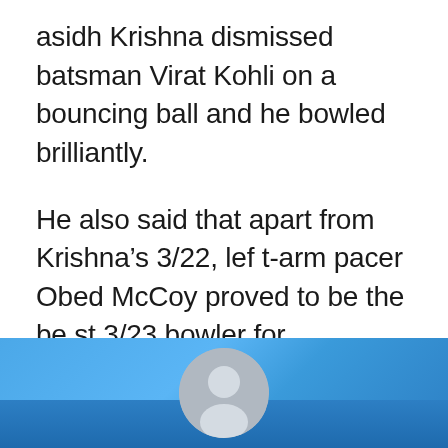asidh Krishna dismissed batsman Virat Kohli on a bouncing ball and he bowled brilliantly.
He also said that apart from Krishna's 3/22, left-arm pacer Obed McCoy proved to be the best 3/23 bowler for Rajasthan. Together, the duo managed to pick up several important wickets in the death overs stopping Bangalore's run-rate.
[Figure (illustration): Blue gradient background bar at the bottom of the page with a circular grey user avatar icon centered on it, overlapping a darker blue strip.]